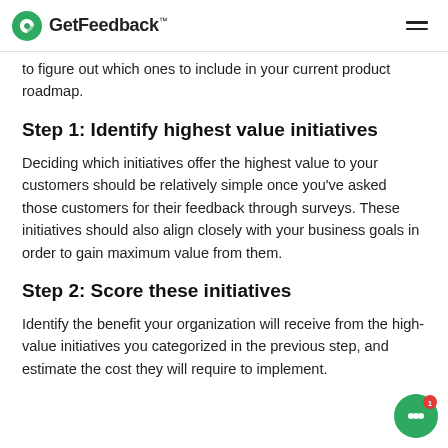GetFeedback™
to figure out which ones to include in your current product roadmap.
Step 1: Identify highest value initiatives
Deciding which initiatives offer the highest value to your customers should be relatively simple once you've asked those customers for their feedback through surveys. These initiatives should also align closely with your business goals in order to gain maximum value from them.
Step 2: Score these initiatives
Identify the benefit your organization will receive from the high-value initiatives you categorized in the previous step, and estimate the cost they will require to implement.